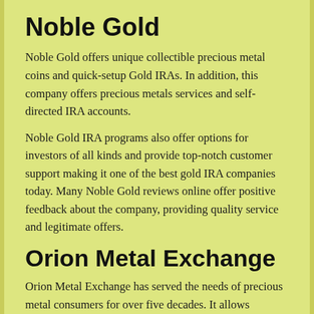Noble Gold
Noble Gold offers unique collectible precious metal coins and quick-setup Gold IRAs. In addition, this company offers precious metals services and self-directed IRA accounts.
Noble Gold IRA programs also offer options for investors of all kinds and provide top-notch customer support making it one of the best gold IRA companies today. Many Noble Gold reviews online offer positive feedback about the company, providing quality service and legitimate offers.
Orion Metal Exchange
Orion Metal Exchange has served the needs of precious metal consumers for over five decades. It allows customers to invest in precious metals such as silver, gold, and platinum. In addition, this company